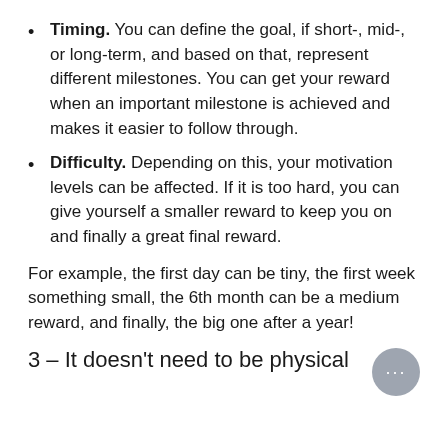Timing. You can define the goal, if short-, mid-, or long-term, and based on that, represent different milestones. You can get your reward when an important milestone is achieved and makes it easier to follow through.
Difficulty. Depending on this, your motivation levels can be affected. If it is too hard, you can give yourself a smaller reward to keep you on and finally a great final reward.
For example, the first day can be tiny, the first week something small, the 6th month can be a medium reward, and finally, the big one after a year!
3 – It doesn't need to be physical